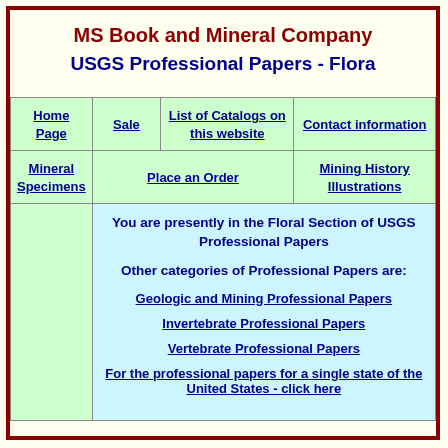MS Book and Mineral Company
USGS Professional Papers - Flora
| Home Page | Sale | List of Catalogs on this website | Contact information |
| --- | --- | --- | --- |
| Mineral Specimens |  | Place an Order | Mining History Illustrations |
You are presently in the Floral Section of USGS Professional Papers
Other categories of Professional Papers are:
Geologic and Mining Professional Papers
Invertebrate Professional Papers
Vertebrate Professional Papers
For the professional papers for a single state of the United States - click here